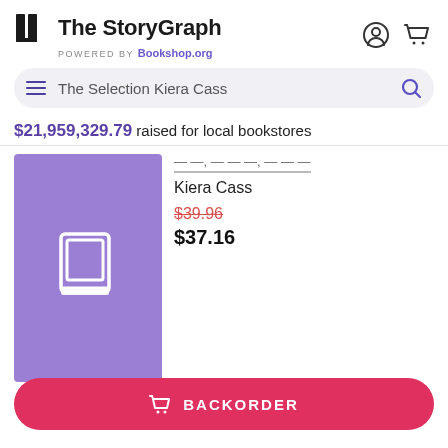The StoryGraph — POWERED BY Bookshop.org
The Selection Kiera Cass (search query)
$21,959,329.79 raised for local bookstores
[Figure (illustration): Purple book cover placeholder with a book icon in white outline]
Kiera Cass
$39.96 (original price, struck through)
$37.16
BACKORDER button